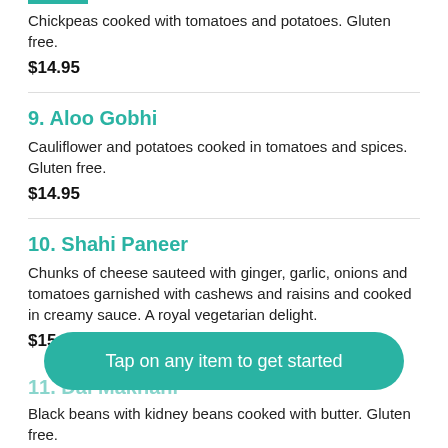Chickpeas cooked with tomatoes and potatoes. Gluten free.
$14.95
9. Aloo Gobhi
Cauliflower and potatoes cooked in tomatoes and spices. Gluten free.
$14.95
10. Shahi Paneer
Chunks of cheese sauteed with ginger, garlic, onions and tomatoes garnished with cashews and raisins and cooked in creamy sauce. A royal vegetarian delight.
$15.95
Tap on any item to get started
11. Dal Makhani
Black beans with kidney beans cooked with butter. Gluten free.
$14.95